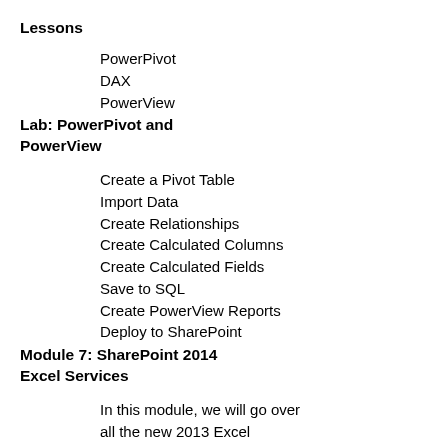Lessons
PowerPivot
DAX
PowerView
Lab: PowerPivot and PowerView
Create a Pivot Table
Import Data
Create Relationships
Create Calculated Columns
Create Calculated Fields
Save to SQL
Create PowerView Reports
Deploy to SharePoint
Module 7: SharePoint 2014 Excel Services
In this module, we will go over all the new 2013 Excel Services features, and we will